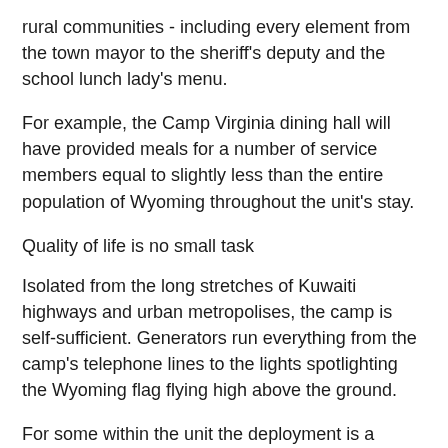rural communities - including every element from the town mayor to the sheriff's deputy and the school lunch lady's menu.
For example, the Camp Virginia dining hall will have provided meals for a number of service members equal to slightly less than the entire population of Wyoming throughout the unit's stay.
Quality of life is no small task
Isolated from the long stretches of Kuwaiti highways and urban metropolises, the camp is self-sufficient. Generators run everything from the camp's telephone lines to the lights spotlighting the Wyoming flag flying high above the ground.
For some within the unit the deployment is a welcomed relief compared to previous mobilizations, where they kicked-in doors and patrolled Iraqi streets on foot. Others prefer the higher pace of war, and have likened this deployment to that of Bill Murray's recurring escapades